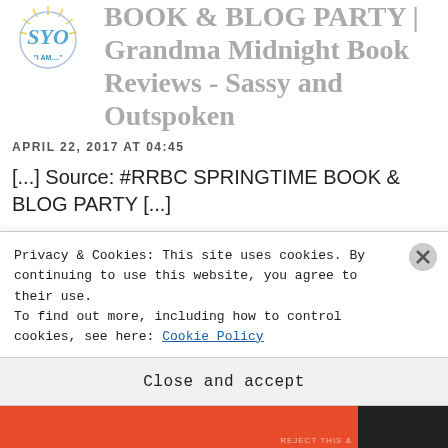[Figure (logo): Circular logo with decorative script letters 'SYO' and text '"I AM...."' in blue and gold, with a sunburst graphic]
BOOK & BLOG PARTY | Grandma Midnight Book Reviews - Sassy and Outspoken
APRIL 22, 2017 AT 04:45
[...] Source: #RRBC SPRINGTIME BOOK & BLOG PARTY [...]
Like
REPLY
Privacy & Cookies: This site uses cookies. By continuing to use this website, you agree to their use.
To find out more, including how to control cookies, see here: Cookie Policy
Close and accept